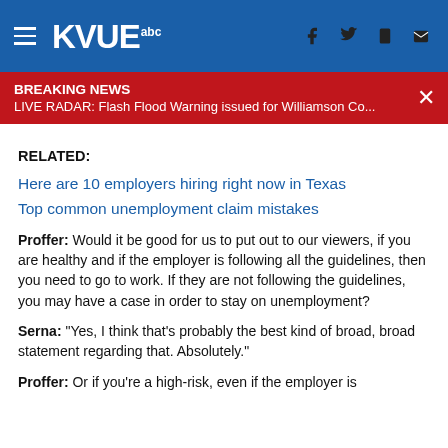KVUE abc
BREAKING NEWS
LIVE RADAR: Flash Flood Warning issued for Williamson Co...
RELATED:
Here are 10 employers hiring right now in Texas
Top common unemployment claim mistakes
Proffer: Would it be good for us to put out to our viewers, if you are healthy and if the employer is following all the guidelines, then you need to go to work. If they are not following the guidelines, you may have a case in order to stay on unemployment?
Serna: "Yes, I think that's probably the best kind of broad, broad statement regarding that. Absolutely."
Proffer: Or if you're a high-risk, even if the employer is following...